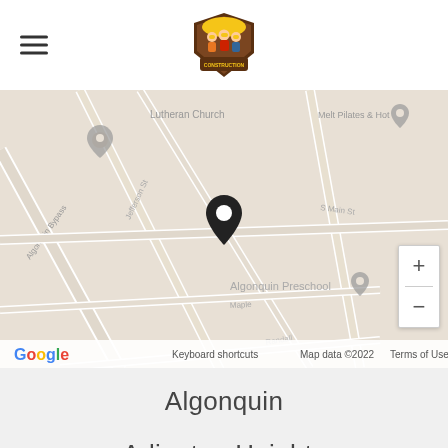[Figure (logo): Assembly Squad Construction company logo — circular badge with cartoon construction workers, yellow and brown tones]
[Figure (map): Google Maps view showing Algonquin area with a location pin marker, streets including S Main St and Jefferson St, landmarks including Lutheran Church, Algonquin Preschool, Melt Pilates & Hot. Map data ©2022. Zoom controls visible on right side.]
Algonquin
Arlington Heights